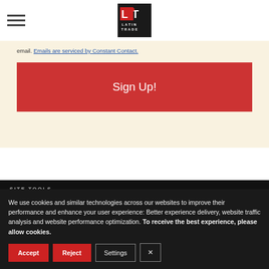[Figure (logo): Latin Trade logo — red and white LT letters on dark background with LATIN TRADE text]
email. Emails are serviced by Constant Contact.
Sign Up!
SITE TOOLS
We use cookies and similar technologies across our websites to improve their performance and enhance your user experience: Better experience delivery, website traffic analysis and website performance optimization. To receive the best experience, please allow cookies.
Accept
Reject
Settings
×